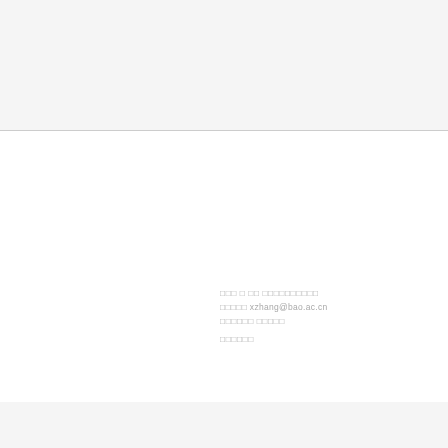□□□ □ □□ □□□□□□□□□□
□□□□□ xzhang@bao.ac.cn
□□□□□□ □□□□□
□□□□□□